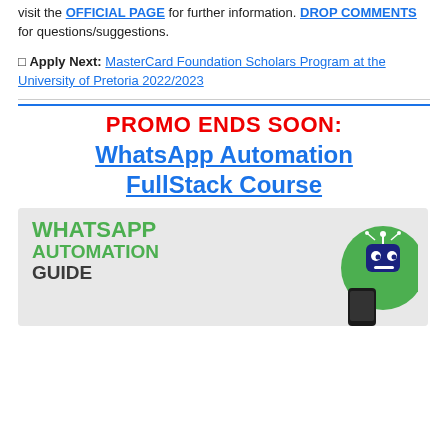Visit the OFFICIAL PAGE for further information. DROP COMMENTS for questions/suggestions.
🔲 Apply Next: MasterCard Foundation Scholars Program at the University of Pretoria 2022/2023
PROMO ENDS SOON: WhatsApp Automation FullStack Course
[Figure (illustration): WhatsApp Automation Guide banner with green bold text and a robot mascot illustration]